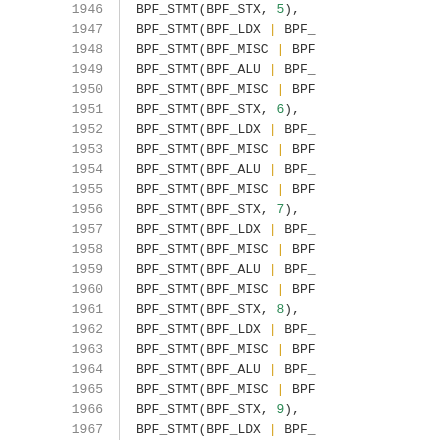Code listing lines 1946-1967 showing BPF_STMT macro calls with BPF_STX, BPF_LDX, BPF_MISC, BPF_ALU flags and numeric arguments 5-9